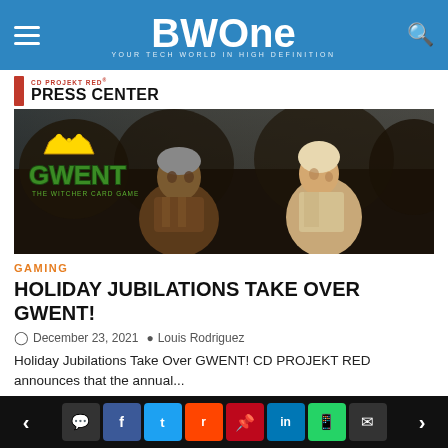BWOne — YOUR TECH WORLD IN HIGH DEFINITION
[Figure (logo): CD PROJEKT RED Press Center logo with red bookmark icon]
[Figure (photo): GWENT: The Witcher Card Game promotional image showing two characters facing each other with the GWENT logo in green on the left]
GAMING
HOLIDAY JUBILATIONS TAKE OVER GWENT!
December 23, 2021  Louis Rodriguez
Holiday Jubilations Take Over GWENT! CD PROJEKT RED announces that the annual...